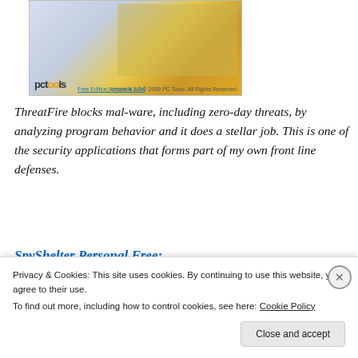[Figure (screenshot): Screenshot of PC Tools ThreatFire application with a world map showing threat locations and a list of detected threats. PC Tools logo visible at bottom left.]
ThreatFire blocks mal-ware, including zero-day threats, by analyzing program behavior and it does a stellar job. This is one of the security applications that forms part of my own front line defenses.
SpyShelter Personal Free:
[Figure (screenshot): Screenshot of SpyShelter application showing the application window with blue title bar and SpyShelter logo.]
Privacy & Cookies: This site uses cookies. By continuing to use this website, you agree to their use.
To find out more, including how to control cookies, see here: Cookie Policy